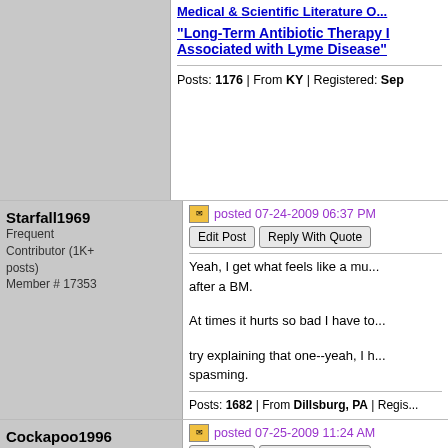Medical & Scientific Literature O...
"Long-Term Antibiotic Therapy Is Associated with Lyme Disease"
Posts: 1176 | From KY | Registered: Sep
Starfall1969
Frequent Contributor (1K+ posts)
Member # 17353
posted 07-24-2009 06:37 PM
Yeah, I get what feels like a mu... after a BM.
At times it hurts so bad I have to...
try explaining that one--yeah, I h... spasming.
Posts: 1682 | From Dillsburg, PA | Regis...
Cockapoo1996
LymeNet Contributor
Member # 14238
posted 07-25-2009 11:24 AM
I went to a rectal doctor for it. H... Levator Ani. He said it is comm...
He said he doesn't know what c... it gets really bad he would do s...